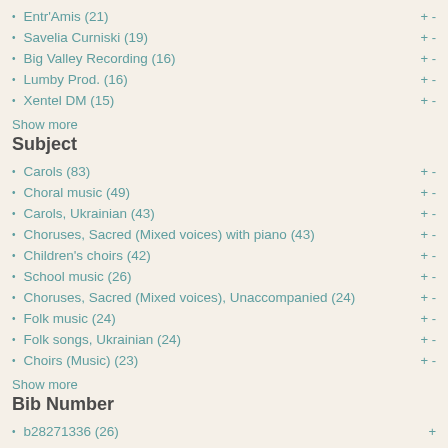Entr'Amis (21)
Savelia Curniski (19)
Big Valley Recording (16)
Lumby Prod. (16)
Xentel DM (15)
Show more
Subject
Carols (83)
Choral music (49)
Carols, Ukrainian (43)
Choruses, Sacred (Mixed voices) with piano (43)
Children's choirs (42)
School music (26)
Choruses, Sacred (Mixed voices), Unaccompanied (24)
Folk music (24)
Folk songs, Ukrainian (24)
Choirs (Music) (23)
Show more
Bib Number
b28271336 (26)